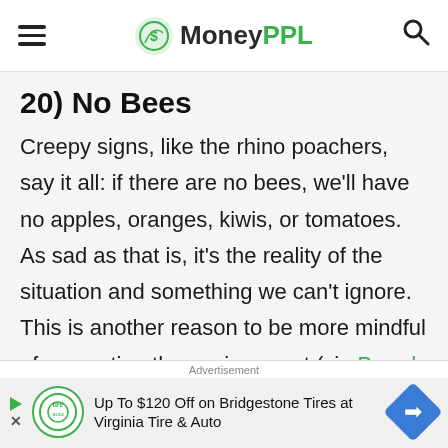MoneyPPL
20) No Bees
Creepy signs, like the rhino poachers, say it all: if there are no bees, we’ll have no apples, oranges, kiwis, or tomatoes. As sad as that is, it’s the reality of the situation and something we can’t ignore. This is another reason to be more mindful of respecting the environment (via Bored Panda). Bees
Advertisement
Up To $120 Off on Bridgestone Tires at Virginia Tire & Auto